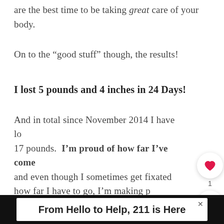are the best time to be taking great care of your body.
On to the “good stuff” though, the results!
I lost 5 pounds and 4 inches in 24 Days!
And in total since November 2014 I have lo... 17 pounds.  I’m proud of how far I’ve come, and even though I sometimes get fixated how far I have to go, I’m making p... and that is what counts. (Just keeping it real:
[Figure (other): UI overlay with heart/like button showing count 1, and share button]
[Figure (other): What's Next panel showing Advocare 24 Day... with thumbnail image]
From Hello to Help, 211 is Here